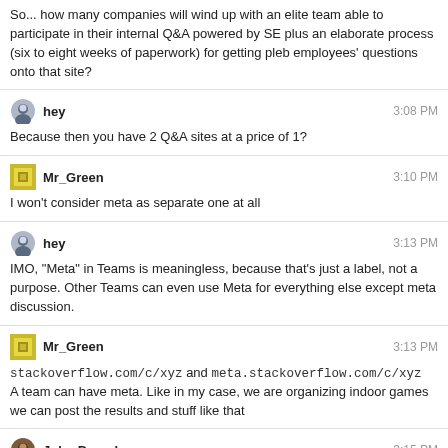So... how many companies will wind up with an elite team able to participate in their internal Q&A powered by SE plus an elaborate process (six to eight weeks of paperwork) for getting pleb employees' questions onto that site?
hey  3:08 PM
Because then you have 2 Q&A sites at a price of 1?
Mr_Green  3:10 PM
I won't consider meta as separate one at all
hey  3:13 PM
IMO, "Meta" in Teams is meaningless, because that's just a label, not a purpose. Other Teams can even use Meta for everything else except meta discussion.
Mr_Green  3:13 PM
stackoverflow.com/c/xyz and meta.stackoverflow.com/c/xyz
A team can have meta. Like in my case, we are organizing indoor games
we can post the results and stuff like that
John Dvorak  3:15 PM
So, Stack Exchange makes five bucks per head but they're stingy for ten bucks per company?
Mr_Green  3:16 PM
meta won't be much active as the main site.
it is too much to purchase another teams to fulfill meta.. just too much :)
hey  3:17 PM